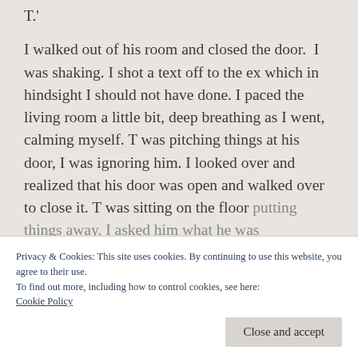T.'
I walked out of his room and closed the door.  I was shaking. I shot a text off to the ex which in hindsight I should not have done. I paced the living room a little bit, deep breathing as I went, calming myself. T was pitching things at his door, I was ignoring him. I looked over and realized that his door was open and walked over to close it. T was sitting on the floor putting things away. I asked him what he was
Privacy & Cookies: This site uses cookies. By continuing to use this website, you agree to their use.
To find out more, including how to control cookies, see here: Cookie Policy
Close and accept